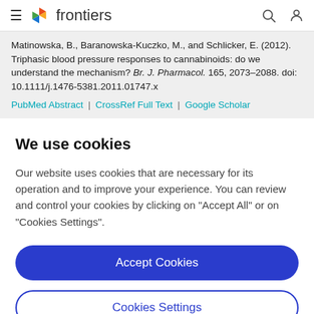frontiers
Matinowska, B., Baranowska-Kuczko, M., and Schlicker, E. (2012). Triphasic blood pressure responses to cannabinoids: do we understand the mechanism? Br. J. Pharmacol. 165, 2073–2088. doi: 10.1111/j.1476-5381.2011.01747.x
PubMed Abstract | CrossRef Full Text | Google Scholar
We use cookies
Our website uses cookies that are necessary for its operation and to improve your experience. You can review and control your cookies by clicking on "Accept All" or on "Cookies Settings".
Accept Cookies
Cookies Settings